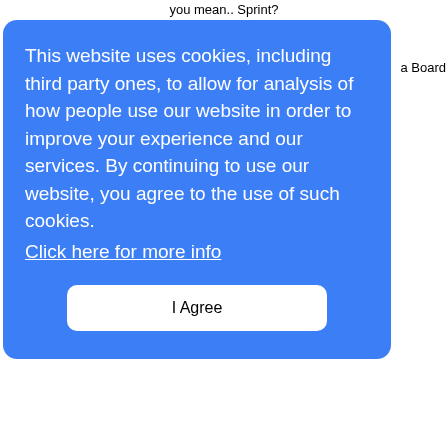you mean.. Sprint?
a Board
This website uses cookies, including third party ones, to allow for analysis of how people use our website in order to improve your experience and our services. By continuing to use our website, you agree to the use of such cookies. Click here for more info
I Agree